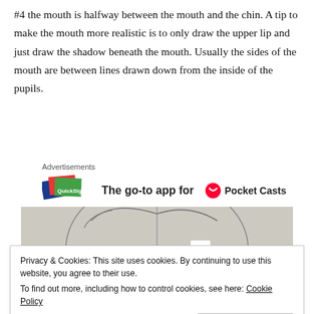#4 the mouth is halfway between the mouth and the chin. A tip to make the mouth more realistic is to only draw the upper lip and just draw the shadow beneath the mouth. Usually the sides of the mouth are between lines drawn down from the inside of the pupils.
[Figure (screenshot): Advertisement banner showing QuickSign app logo and 'The go-to app for' text with Pocket Casts logo on the right]
[Figure (photo): Pencil sketch drawing of a face with the number 4 and handwritten text 'the sides of the mouth']
Privacy & Cookies: This site uses cookies. By continuing to use this website, you agree to their use.
To find out more, including how to control cookies, see here: Cookie Policy
Close and accept